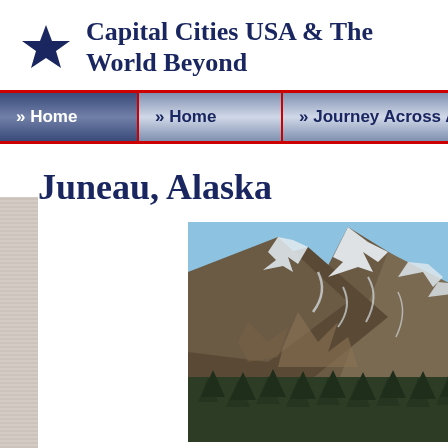Capital Cities USA & The World Beyond
» Home
» Home
» Journey Across America
» Jour
Juneau, Alaska
[Figure (photo): Snow-capped mountain peaks with blue sky, evergreen trees in foreground, showing mountainous terrain near Juneau, Alaska]